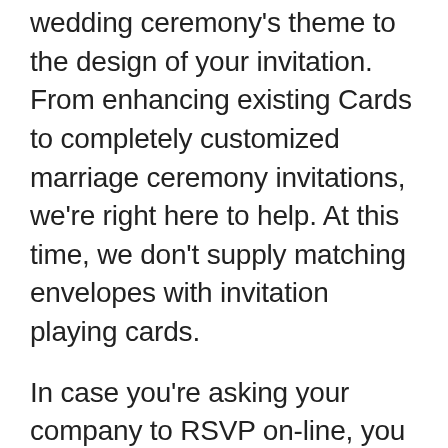wedding ceremony's theme to the design of your invitation. From enhancing existing Cards to completely customized marriage ceremony invitations, we're right here to help. At this time, we don't supply matching envelopes with invitation playing cards.
In case you're asking your company to RSVP on-line, you don't need to include an RSVP card, but an internet site may look misplaced on the backside of your formal marriage ceremony invitations. We provide a variety of seasonal, cultural, and themed wedding invitation designs you could choose from.